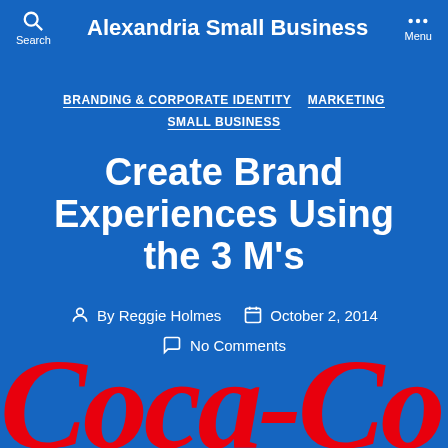Alexandria Small Business
BRANDING & CORPORATE IDENTITY   MARKETING   SMALL BUSINESS
Create Brand Experiences Using the 3 M's
By Reggie Holmes   October 2, 2014   No Comments
[Figure (logo): Coca-Cola logo in red script text, partially visible at the bottom of the page]